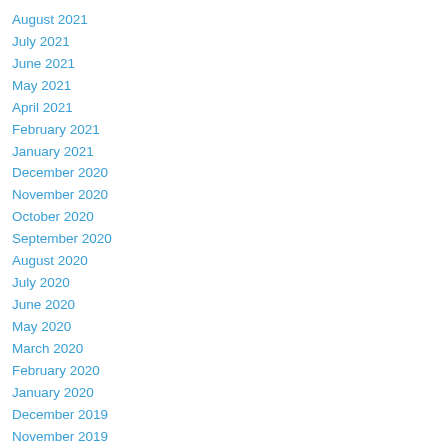August 2021
July 2021
June 2021
May 2021
April 2021
February 2021
January 2021
December 2020
November 2020
October 2020
September 2020
August 2020
July 2020
June 2020
May 2020
March 2020
February 2020
January 2020
December 2019
November 2019